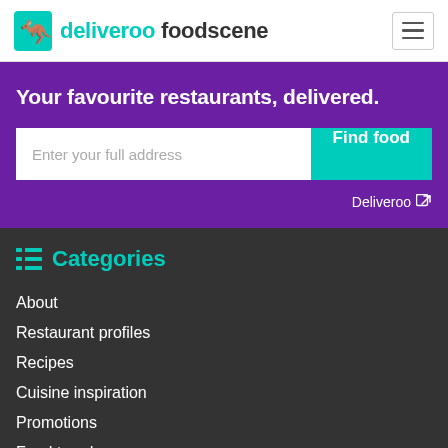deliveroo foodscene
Your favourite restaurants, delivered.
Enter your full address | Find food
Deliveroo ↗
Categories
About
Restaurant profiles
Recipes
Cuisine inspiration
Promotions
Food trends
Inspiration